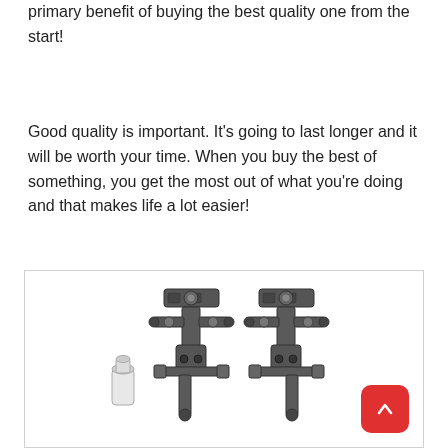primary benefit of buying the best quality one from the start!
Good quality is important. It's going to last longer and it will be worth your time. When you buy the best of something, you get the most out of what you're doing and that makes life a lot easier!
[Figure (photo): Product image of two metal flash bracket / umbrella holder clamps for photography lighting, with a small white adapter piece, shown against a white background inside a bordered card. A red scroll-to-top button with an upward arrow is visible in the bottom-right corner of the card.]